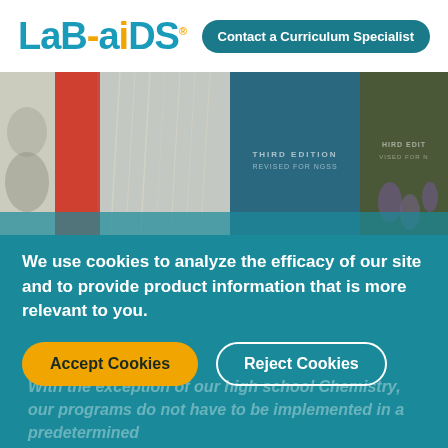[Figure (logo): Lab-Aids logo in teal/blue color with stylized lettering]
Contact a Curriculum Specialist
[Figure (photo): Hero banner image showing collage of science/education related photos including textbooks with 'Third Edition Revised for NGSS' text]
We use cookies to analyze the efficacy of our site and to provide product information that is more relevant to you.
Accept Cookies
Reject Cookies
With the exception of our high school Chemistry, our programs do not have to be implemented in a predetermined